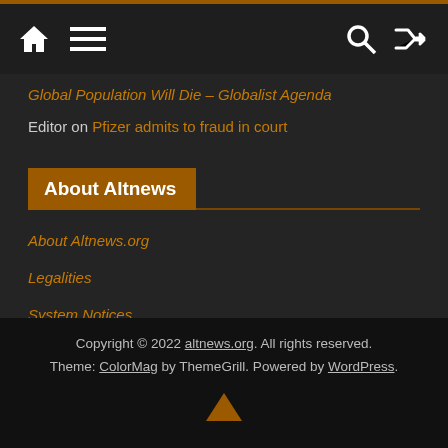Navigation bar with home, menu, search, and shuffle icons
Global Population Will Die – Globalist Agenda
Editor on Pfizer admits to fraud in court
About Altnews
About Altnews.org
Legalities
System Notices
Copyright © 2022 altnews.org. All rights reserved. Theme: ColorMag by ThemeGrill. Powered by WordPress.